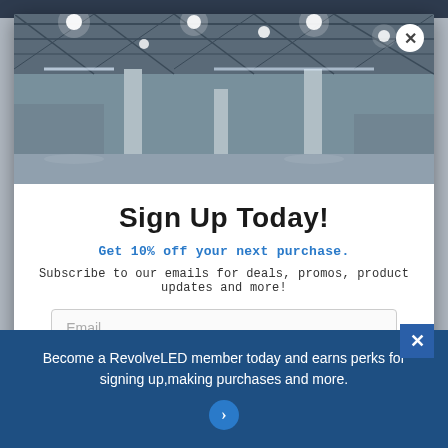[Figure (photo): Warehouse interior with industrial LED lighting on ceiling and steel support columns]
Sign Up Today!
Get 10% off your next purchase.
Subscribe to our emails for deals, promos, product updates and more!
Email
Become a RevolveLED member today and earns perks for signing up,making purchases and more.